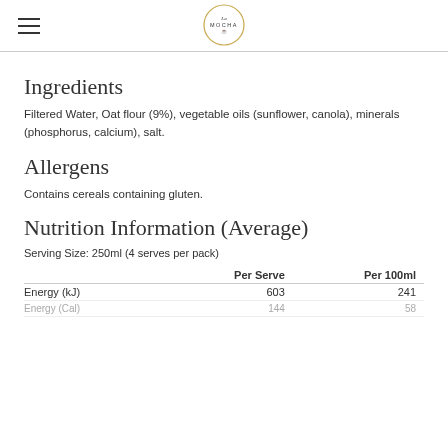La Mocha (logo)
Ingredients
Filtered Water, Oat flour (9%), vegetable oils (sunflower, canola), minerals (phosphorus, calcium), salt.
Allergens
Contains cereals containing gluten.
Nutrition Information (Average)
Serving Size: 250ml (4 serves per pack)
|  | Per Serve | Per 100ml |
| --- | --- | --- |
| Energy (kJ) | 603 | 241 |